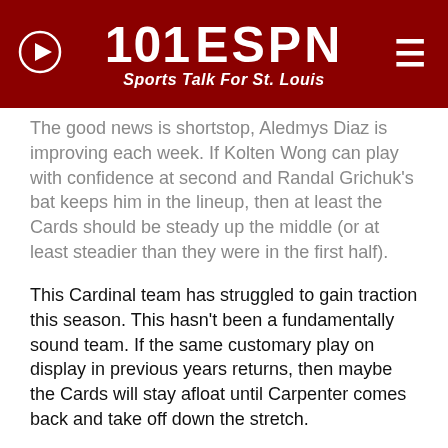[Figure (logo): 101 ESPN Sports Talk For St. Louis header bar with play button on left and hamburger menu on right]
The good news is shortstop, Aledmys Diaz is improving each week. If Kolten Wong can play with confidence at second and Randal Grichuk's bat keeps him in the lineup, then at least the Cards should be steady up the middle (or at least steadier than they were in the first half).
This Cardinal team has struggled to gain traction this season. This hasn't been a fundamentally sound team. If the same customary play on display in previous years returns, then maybe the Cards will stay afloat until Carpenter comes back and take off down the stretch.
Can Diaz hold up over 162?
Kolten Wong and Jhonny Peralta faded down the